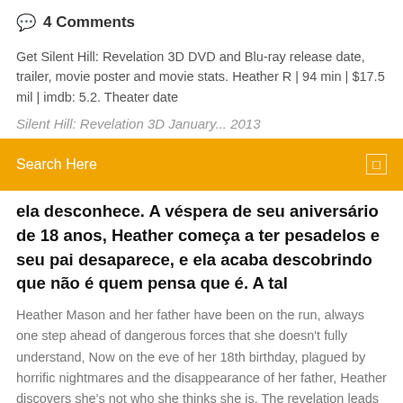4 Comments
Get Silent Hill: Revelation 3D DVD and Blu-ray release date, trailer, movie poster and movie stats. Heather R | 94 min | $17.5 mil | imdb: 5.2. Theater date
Silent Hill: Revelation 3D January... 2013
[Figure (screenshot): Orange search bar with white text 'Search Here' and a small square icon on the right]
ela desconhece. A véspera de seu aniversário de 18 anos, Heather começa a ter pesadelos e seu pai desaparece, e ela acaba descobrindo que não é quem pensa que é. A tal
Heather Mason and her father have been on the run, always one step ahead of dangerous forces that she doesn't fully understand, Now on the eve of her 18th birthday, plagued by horrific nightmares and the disappearance of her father, Heather discovers she's not who she thinks she is. The revelation leads her deeper into [...] Silent Hill: Revelation 3D (2012) - Online Subtitrat 94 min Heather Mason si tatăl ei au